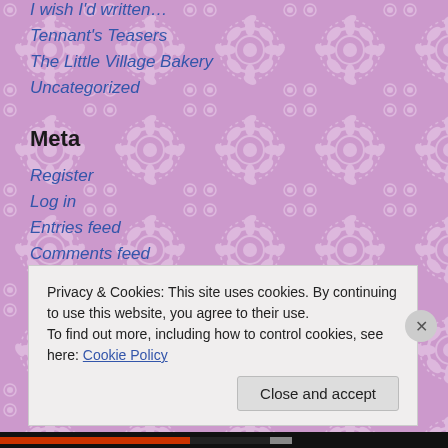[Figure (illustration): Purple/lavender floral pattern background with repeating sunflower and swirl motifs in lighter pink/white tones]
I wish I'd written…
Tennant's Teasers
The Little Village Bakery
Uncategorized
Meta
Register
Log in
Entries feed
Comments feed
WordPress.com
Privacy & Cookies: This site uses cookies. By continuing to use this website, you agree to their use.
To find out more, including how to control cookies, see here: Cookie Policy
Close and accept